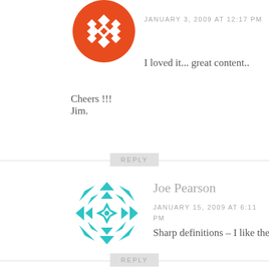[Figure (illustration): Orange geometric snowflake/quilt pattern avatar icon, partially cropped at top]
JANUARY 3, 2009 AT 12:17 PM
I loved it... great content..
Cheers !!!
Jim.
REPLY
[Figure (illustration): Teal/cyan geometric snowflake/quilt pattern avatar icon]
Joe Pearson
JANUARY 15, 2009 AT 6:11 PM
Sharp definitions – I like them!
REPLY